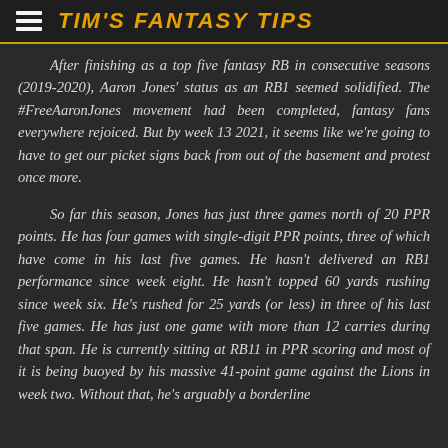TIM'S FANTASY TIPS
After finishing as a top five fantasy RB in consecutive seasons (2019-2020), Aaron Jones' status as an RB1 seemed solidified. The #FreeAaronJones movement had been completed, fantasy fans everywhere rejoiced. But by week 13 2021, it seems like we're going to have to get our picket signs back from out of the basement and protest once more.
So far this season, Jones has just three games north of 20 PPR points. He has four games with single-digit PPR points, three of which have come in his last five games. He hasn't delivered an RB1 performance since week eight. He hasn't topped 60 yards rushing since week six. He's rushed for 25 yards (or less) in three of his last five games. He has just one game with more than 12 carries during that span. He is currently sitting at RB11 in PPR scoring and most of it is being buoyed by his massive 41-point game against the Lions in week two. Without that, he's arguably a borderline